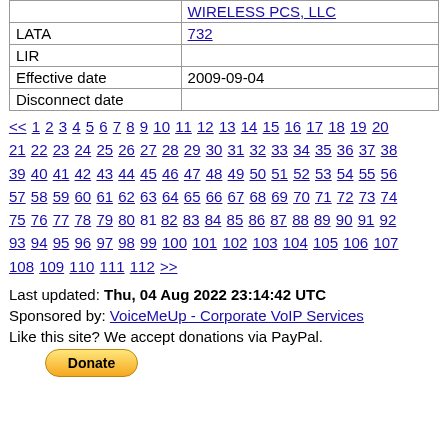|  | WIRELESS PCS, LLC |
| LATA | 732 |
| LIR |  |
| Effective date | 2009-09-04 |
| Disconnect date |  |
<< 1 2 3 4 5 6 7 8 9 10 11 12 13 14 15 16 17 18 19 20 21 22 23 24 25 26 27 28 29 30 31 32 33 34 35 36 37 38 39 40 41 42 43 44 45 46 47 48 49 50 51 52 53 54 55 56 57 58 59 60 61 62 63 64 65 66 67 68 69 70 71 72 73 74 75 76 77 78 79 80 81 82 83 84 85 86 87 88 89 90 91 92 93 94 95 96 97 98 99 100 101 102 103 104 105 106 107 108 109 110 111 112 >>
Last updated: Thu, 04 Aug 2022 23:14:42 UTC
Sponsored by: VoiceMeUp - Corporate VoIP Services
Like this site? We accept donations via PayPal.
[Figure (other): PayPal Donate button]